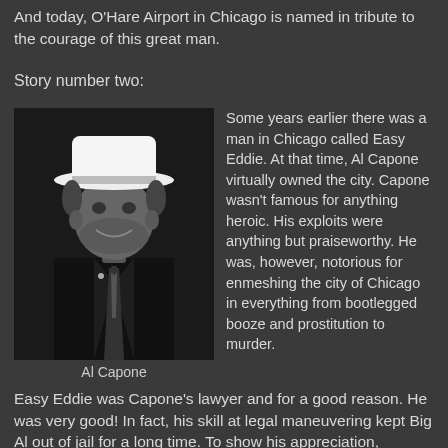And today, O'Hare Airport in Chicago is named in tribute to the courage of this great man.
Story number two:
[Figure (photo): Black and white photograph of Al Capone wearing a white fedora hat and dark suit, smiling. Caption reads 'Al Capone'.]
Some years earlier there was a man in Chicago called Easy Eddie. At that time, Al Capone virtually owned the city. Capone wasn't famous for anything heroic. His exploits were anything but praiseworthy. He was, however, notorious for enmeshing the city of Chicago in everything from bootlegged booze and prostitution to murder.
Easy Eddie was Capone's lawyer and for a good reason. He was very good! In fact, his skill at legal maneuvering kept Big Al out of jail for a long time. To show his appreciation, Capone paid him very well. Not only was the money big;